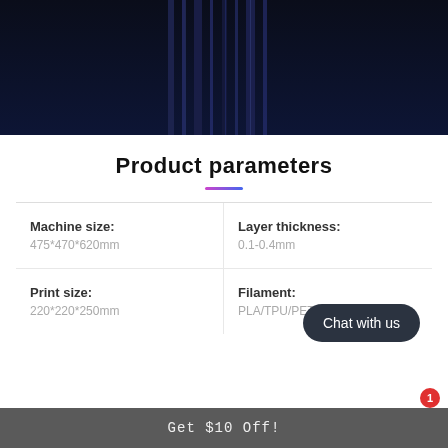[Figure (photo): Dark blue/black background product image of a 3D printer, showing vertical structural elements of the printer frame against a deep navy background.]
Product parameters
| Parameter | Value |
| --- | --- |
| Machine size: | 475*470*620mm |
| Layer thickness: | 0.1-0.4mm |
| Print size: | 220*220*250mm |
| Filament: | PLA/TPU/PETG |
Chat with us
Get $10 Off!